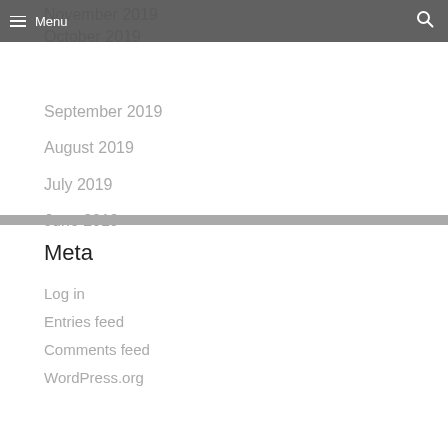Menu
November 2019
October 2019
September 2019
August 2019
July 2019
June 2019
Meta
Log in
Entries feed
Comments feed
WordPress.org